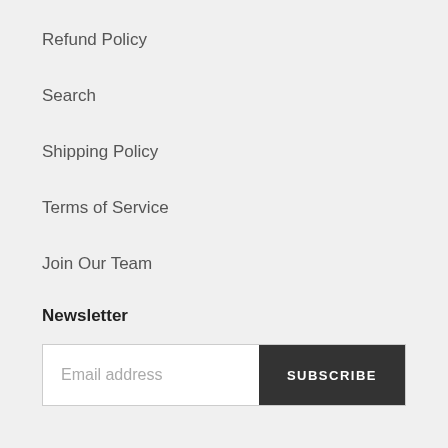Refund Policy
Search
Shipping Policy
Terms of Service
Join Our Team
Newsletter
Email address
SUBSCRIBE